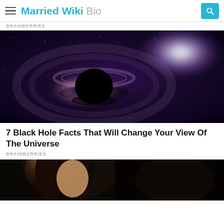Married Wiki Bio
BRAINBERRIES
[Figure (illustration): Artistic illustration of a black hole with a dark center, accretion disk with reddish-purple hues, and a bright white light source to the right, set against a dark starry galaxy background.]
7 Black Hole Facts That Will Change Your View Of The Universe
BRAINBERRIES
[Figure (photo): Partial photo of a person (appears to be a woman with dark hair) visible at the bottom of the page, with a dark background.]